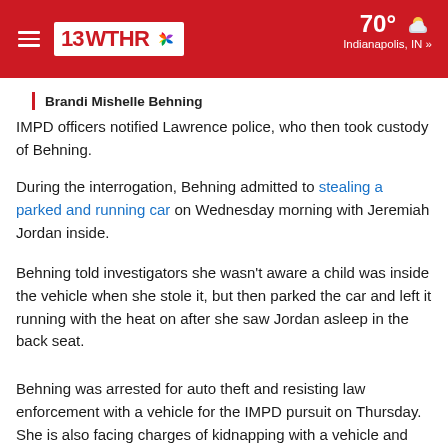13 WTHR | 70° Indianapolis, IN »
Brandi Mishelle Behning
IMPD officers notified Lawrence police, who then took custody of Behning.
During the interrogation, Behning admitted to stealing a parked and running car on Wednesday morning with Jeremiah Jordan inside.
Behning told investigators she wasn't aware a child was inside the vehicle when she stole it, but then parked the car and left it running with the heat on after she saw Jordan asleep in the back seat.
Behning was arrested for auto theft and resisting law enforcement with a vehicle for the IMPD pursuit on Thursday. She is also facing charges of kidnapping with a vehicle and auto theft for the Lawrence case on Wednesday.